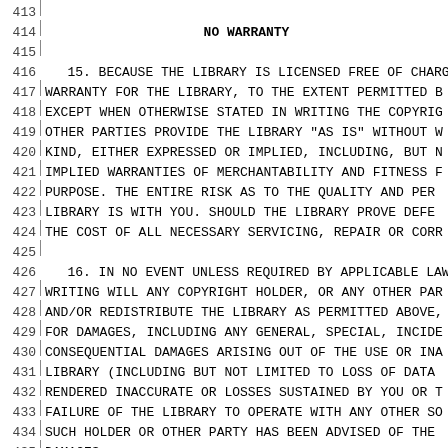413
NO WARRANTY
415
416    15. BECAUSE THE LIBRARY IS LICENSED FREE OF CHARG
417  WARRANTY FOR THE LIBRARY, TO THE EXTENT PERMITTED B
418  EXCEPT WHEN OTHERWISE STATED IN WRITING THE COPYRIG
419  OTHER PARTIES PROVIDE THE LIBRARY "AS IS" WITHOUT W
420  KIND, EITHER EXPRESSED OR IMPLIED, INCLUDING, BUT N
421  IMPLIED WARRANTIES OF MERCHANTABILITY AND FITNESS F
422  PURPOSE.  THE ENTIRE RISK AS TO THE QUALITY AND PER
423  LIBRARY IS WITH YOU.  SHOULD THE LIBRARY PROVE DEFE
424  THE COST OF ALL NECESSARY SERVICING, REPAIR OR CORR
425
426    16. IN NO EVENT UNLESS REQUIRED BY APPLICABLE LAW
427  WRITING WILL ANY COPYRIGHT HOLDER, OR ANY OTHER PAR
428  AND/OR REDISTRIBUTE THE LIBRARY AS PERMITTED ABOVE,
429  FOR DAMAGES, INCLUDING ANY GENERAL, SPECIAL, INCIDE
430  CONSEQUENTIAL DAMAGES ARISING OUT OF THE USE OR INA
431  LIBRARY (INCLUDING BUT NOT LIMITED TO LOSS OF DATA
432  RENDERED INACCURATE OR LOSSES SUSTAINED BY YOU OR T
433  FAILURE OF THE LIBRARY TO OPERATE WITH ANY OTHER SO
434  SUCH HOLDER OR OTHER PARTY HAS BEEN ADVISED OF THE
435  DAMAGES.